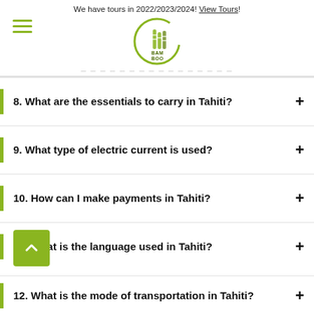We have tours in 2022/2023/2024! View Tours!
[Figure (logo): Bamboo travel company logo — green circular design with bamboo stalks and text BAM BOO]
8. What are the essentials to carry in Tahiti?
9. What type of electric current is used?
10. How can I make payments in Tahiti?
11. What is the language used in Tahiti?
12. What is the mode of transportation in Tahiti?